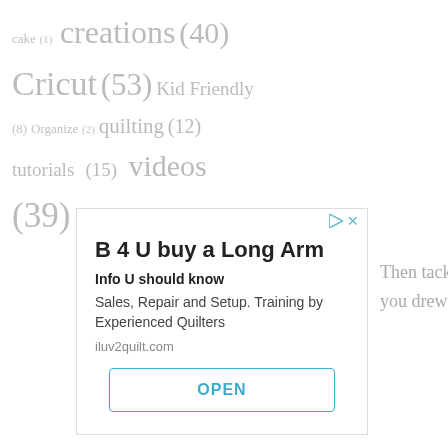cake (1) creations (40) Cricut (53) Kid Friendly (8) Organize (2) quilting (12) tutorials (15) videos (39)
[Figure (other): Advertisement banner for 'B 4 U buy a Long Arm' with headline, subheadline 'Info U should know', body text 'Sales, Repair and Setup. Training by Experienced Quilters', URL 'iluv2quilt.com', and an OPEN button.]
Then tack yo you drew on